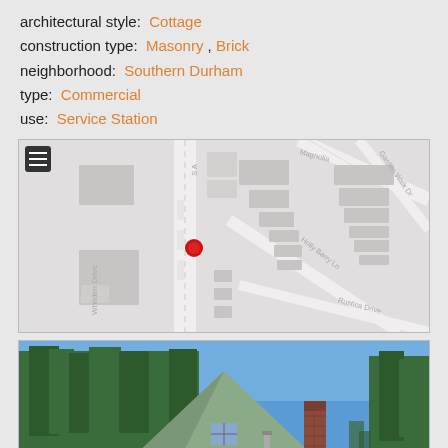architectural style: Cottage
construction type: Masonry , Brick
neighborhood: Southern Durham
type: Commercial
use: Service Station
[Figure (map): Street map showing location with a red dot marker at the property location, with streets including Whilden Drive, Holly Berry Ln, Rustica Drive, Magnolia, Garden Walk Dr, S A (street). Layer control icon in top-left.]
[Figure (photo): Photograph of a cottage-style building with a steep triangular roof, light blue/grey siding, surrounded by tall pine trees. A brick chimney is visible on the right side. Blue sky in background.]